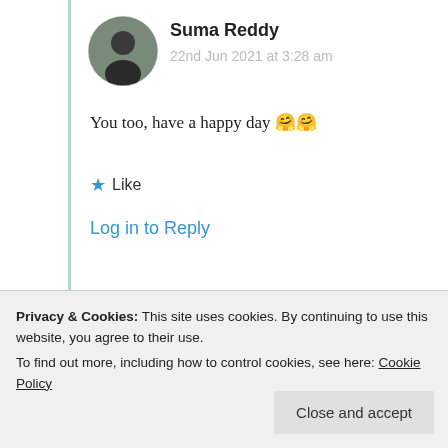Suma Reddy
22nd Jun 2021 at 3:28 am
You too, have a happy day 🤗🤗
★ Like
Log in to Reply
Dreamy Parakeet
Privacy & Cookies: This site uses cookies. By continuing to use this website, you agree to their use.
To find out more, including how to control cookies, see here: Cookie Policy
Close and accept